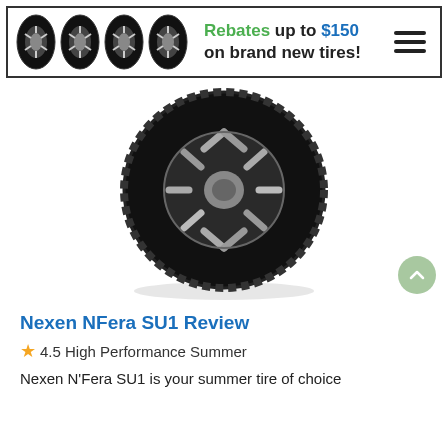[Figure (infographic): Banner advertisement showing four tire icons on the left, bold text reading 'Rebates up to $150 on brand new tires!' in the center, and a hamburger menu icon on the right]
[Figure (photo): Product photo of a Nexen NFera SU1 tire shown at an angle, displaying the tread pattern and chrome spoke wheel, on a white background]
Nexen NFera SU1 Review
★4.5 High Performance Summer
Nexen N'Fera SU1 is your summer tire of choice